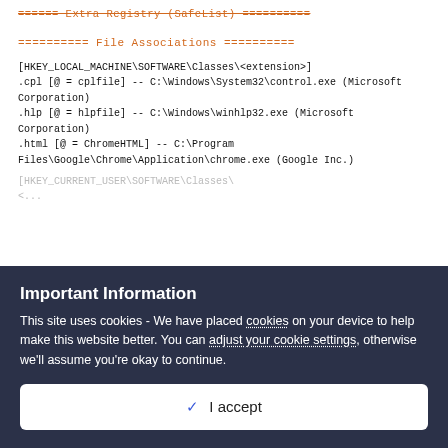===== Extra Registry (SafeList) ==========
========== File Associations ==========
[HKEY_LOCAL_MACHINE\SOFTWARE\Classes\<extension>]
.cpl [@ = cplfile] -- C:\Windows\System32\control.exe (Microsoft Corporation)
.hlp [@ = hlpfile] -- C:\Windows\winhlp32.exe (Microsoft Corporation)
.html [@ = ChromeHTML] -- C:\Program Files\Google\Chrome\Application\chrome.exe (Google Inc.)
[HKEY_CURRENT_USER\SOFTWARE\Classes\...
Important Information
This site uses cookies - We have placed cookies on your device to help make this website better. You can adjust your cookie settings, otherwise we'll assume you're okay to continue.
✓  I accept